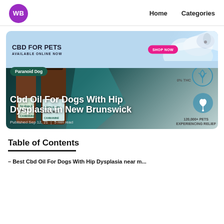WB  Home  Categories
[Figure (illustration): CBD for Pets banner with a husky dog image and 'SHOP NOW' button in pink, followed by a product shot of Cannanine CBD oil bottles with cannabis leaf icons, 0% THC badge, and '120,000+ Pets Experiencing Relief' text. Contains 'Paranoid Dog' badge overlay and article title overlay.]
Cbd Oil For Dogs With Hip Dysplasia in New Brunswick
Published Sep 12, 21  |  5 min read
Table of Contents
– Best Cbd Oil For Dogs With Hip Dysplasia near m...